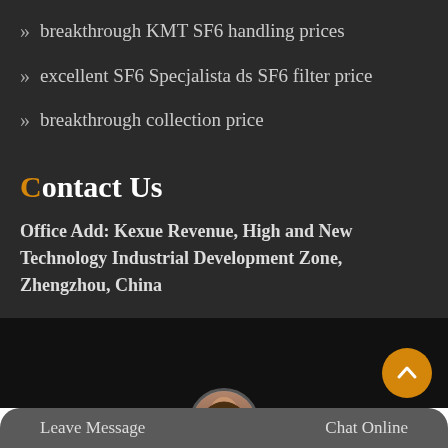breakthrough KMT SF6 handling prices
excellent SF6 Specjalista ds SF6 filter price
breakthrough collection price
Contact Us
Office Add: Kexue Revenue, High and New Technology Industrial Development Zone, Zhengzhou, China
Copyright © 2020.Henan SF6Relations Co., ltd. All rights reserved. Sitemap
Leave Message
Chat Online